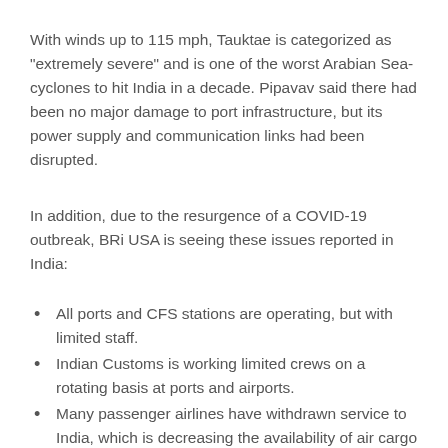With winds up to 115 mph, Tauktae is categorized as “extremely severe” and is one of the worst Arabian Sea-cyclones to hit India in a decade. Pipavav said there had been no major damage to port infrastructure, but its power supply and communication links had been disrupted.
In addition, due to the resurgence of a COVID-19 outbreak, BRi USA is seeing these issues reported in India:
All ports and CFS stations are operating, but with limited staff.
Indian Customs is working limited crews on a rotating basis at ports and airports.
Many passenger airlines have withdrawn service to India, which is decreasing the availability of air cargo space.
Freighters are still operational, but must be secured with